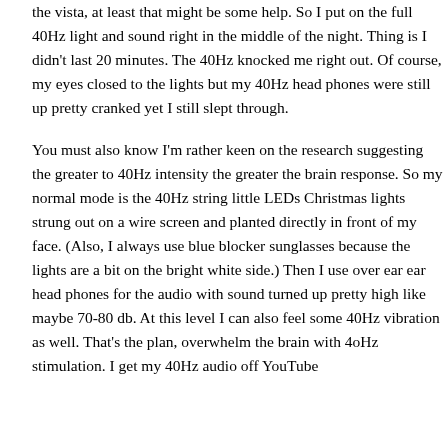the vista, at least that might be some help. So I put on the full 40Hz light and sound right in the middle of the night. Thing is I didn't last 20 minutes. The 40Hz knocked me right out. Of course, my eyes closed to the lights but my 40Hz head phones were still up pretty cranked yet I still slept through.
You must also know I'm rather keen on the research suggesting the greater to 40Hz intensity the greater the brain response. So my normal mode is the 40Hz string little LEDs Christmas lights strung out on a wire screen and planted directly in front of my face. (Also, I always use blue blocker sunglasses because the lights are a bit on the bright white side.) Then I use over ear ear head phones for the audio with sound turned up pretty high like maybe 70-80 db. At this level I can also feel some 40Hz vibration as well. That's the plan, overwhelm the brain with 4oHz stimulation. I get my 40Hz audio off YouTube